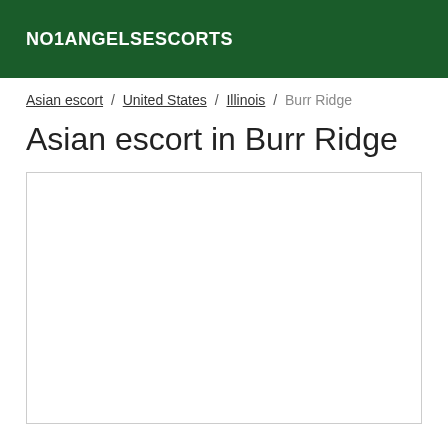NO1ANGELSESCORTS
Asian escort / United States / Illinois / Burr Ridge
Asian escort in Burr Ridge
[Figure (other): Empty white content box with border]